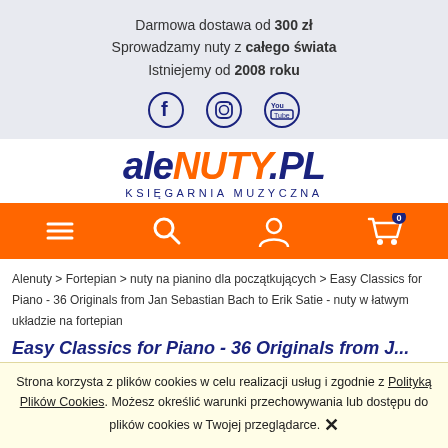Darmowa dostawa od 300 zł
Sprowadzamy nuty z całego świata
Istniejemy od 2008 roku
[Figure (logo): Social media icons: Facebook, Instagram, YouTube]
[Figure (logo): aleNUTY.PL - Księgarnia Muzyczna logo]
[Figure (other): Orange navigation bar with hamburger menu, search, user account, and cart (0) icons]
Alenuty > Fortepian > nuty na pianino dla początkujących > Easy Classics for Piano - 36 Originals from Jan Sebastian Bach to Erik Satie - nuty w łatwym układzie na fortepian
Easy Classics for Piano - 36 Originals from...
Strona korzysta z plików cookies w celu realizacji usług i zgodnie z Polityką Plików Cookies. Możesz określić warunki przechowywania lub dostępu do plików cookies w Twojej przeglądarce.